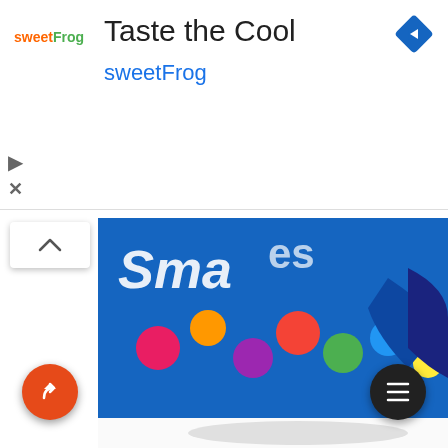[Figure (screenshot): SweetFrog ad banner with logo, 'Taste the Cool' title, sweetFrog brand name in blue, navigation diamond icon top right, play and close icons on left]
[Figure (photo): Smarties chocolate candies spilled from blue packaging on white surface with text 'es Chocolates' visible]
[Figure (photo): Partially visible second image showing a book/tablet with Japanese text and blue background]
[Figure (illustration): Share FAB button (orange circle with share arrow icon) bottom left]
[Figure (illustration): Menu FAB button (dark circle with hamburger menu icon) bottom right]